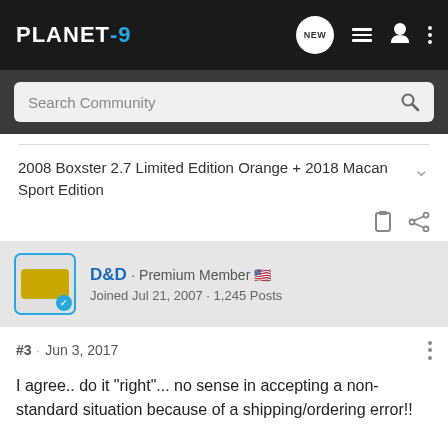PLANET-9 [navigation bar with NEW, list, user, menu icons]
Search Community
2008 Boxster 2.7 Limited Edition Orange + 2018 Macan Sport Edition
D&D · Premium Member 🇺🇸
Joined Jul 21, 2007 · 1,245 Posts
#3 · Jun 3, 2017
I agree.. do it "right"... no sense in accepting a non-standard situation because of a shipping/ordering error!!